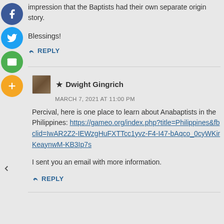impression that the Baptists had their own separate origin story.
Blessings!
↳ REPLY
★ Dwight Gingrich
MARCH 7, 2021 AT 11:00 PM
Percival, here is one place to learn about Anabaptists in the Philippines: https://gameo.org/index.php?title=Philippines&fbclid=IwAR2Z2-IEWzgHuFXTTcc1yvz-F4-I47-bAqco_0cyWKirKeaynwM-KB3Ip7s
I sent you an email with more information.
↳ REPLY